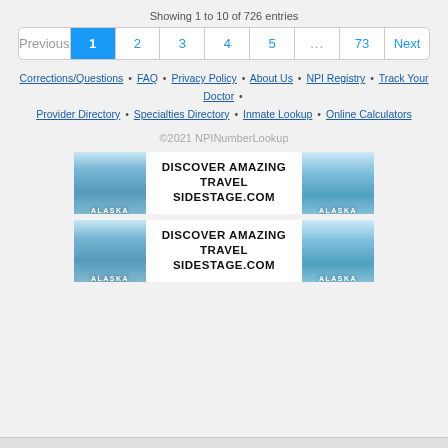Showing 1 to 10 of 726 entries
Previous 1 2 3 4 5 ... 73 Next
Corrections/Questions • FAQ • Privacy Policy • About Us • NPI Registry • Track Your Doctor • Provider Directory • Specialties Directory • Inmate Lookup • Online Calculators
©2021 NPINumberLookup
[Figure (illustration): Discover Amazing Travel SideStage.com advertisement banner with Alaska glacier imagery]
[Figure (illustration): Discover Amazing Travel SideStage.com advertisement banner with Alaska glacier imagery (duplicate)]